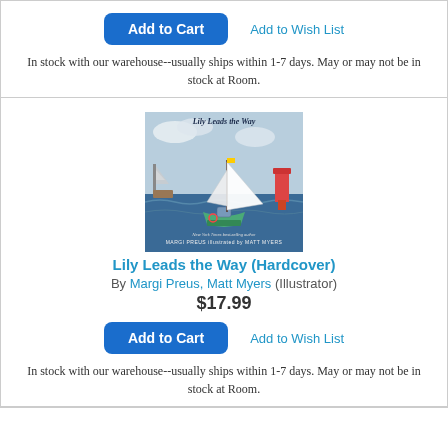Add to Wish List
Add to Cart
In stock with our warehouse--usually ships within 1-7 days. May or may not be in stock at Room.
[Figure (illustration): Book cover of 'Lily Leads the Way' showing a sailboat on water with a lighthouse, by Margi Preus illustrated by Matt Myers]
Lily Leads the Way (Hardcover)
By Margi Preus, Matt Myers (Illustrator)
$17.99
Add to Wish List
Add to Cart
In stock with our warehouse--usually ships within 1-7 days. May or may not be in stock at Room.